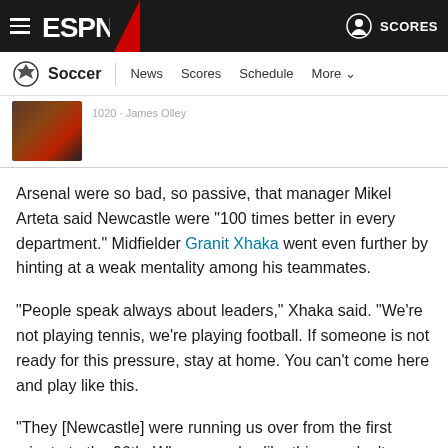ESPN Soccer — News Scores Schedule More
[Figure (screenshot): Thumbnail image of Arsenal-related article with partial byline '1020 · James Olley']
Arsenal were so bad, so passive, that manager Mikel Arteta said Newcastle were "100 times better in every department." Midfielder Granit Xhaka went even further by hinting at a weak mentality among his teammates.
"People speak always about leaders," Xhaka said. "We're not playing tennis, we're playing football. If someone is not ready for this pressure, stay at home. You can't come here and play like this.
"They [Newcastle] were running us over from the first minute to the 96th. When you play like this you don't deserve to play